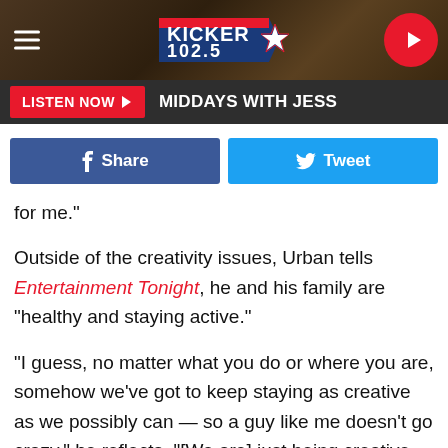[Figure (logo): Kicker 102.5 radio station website header with hamburger menu, logo, and play button]
[Figure (screenshot): Listen Now button with 'MIDDAYS WITH JESS' text on dark bar]
[Figure (screenshot): Facebook Share and Twitter Tweet buttons]
for me."
Outside of the creativity issues, Urban tells Entertainment Tonight, he and his family are "healthy and staying active."
"I guess, no matter what you do or where you are, somehow we've got to keep staying as creative as we possibly can — so a guy like me doesn't go crazy," he reflects. "[We are] just being creative as a family with how we use our time and help other people in any ways we can do, even if it is something like an at-home concert. It's our little bit to try and help out."